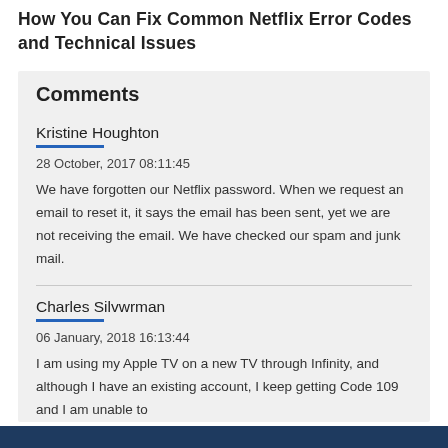How You Can Fix Common Netflix Error Codes and Technical Issues
Comments
Kristine Houghton
28 October, 2017 08:11:45
We have forgotten our Netflix password. When we request an email to reset it, it says the email has been sent, yet we are not receiving the email. We have checked our spam and junk mail.
Charles Silvwrman
06 January, 2018 16:13:44
I am using my Apple TV on a new TV through Infinity, and although I have an existing account, I keep getting Code 109 and I am unable to